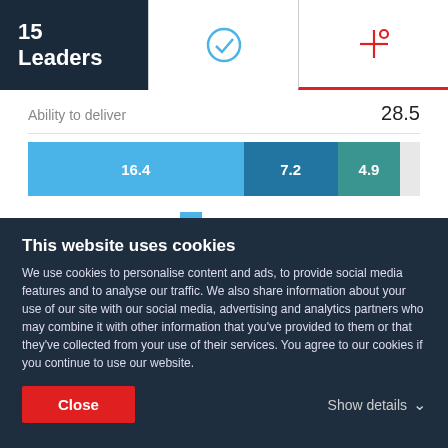15 Leaders
[Figure (stacked-bar-chart): Ability to deliver]
Service Focus
This website uses cookies
We use cookies to personalise content and ads, to provide social media features and to analyse our traffic. We also share information about your use of our site with our social media, advertising and analytics partners who may combine it with other information that you've provided to them or that they've collected from your use of their services. You agree to our cookies if you continue to use our website.
Close
Show details